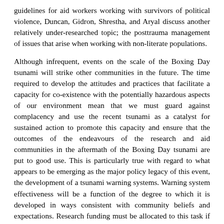guidelines for aid workers working with survivors of political violence, Duncan, Gidron, Shrestha, and Aryal discuss another relatively under-researched topic; the posttrauma management of issues that arise when working with non-literate populations.
Although infrequent, events on the scale of the Boxing Day tsunami will strike other communities in the future. The time required to develop the attitudes and practices that facilitate a capacity for co-existence with the potentially hazardous aspects of our environment mean that we must guard against complacency and use the recent tsunami as a catalyst for sustained action to promote this capacity and ensure that the outcomes of the endeavours of the research and aid communities in the aftermath of the Boxing Day tsunami are put to good use. This is particularly true with regard to what appears to be emerging as the major policy legacy of this event, the development of a tsunami warning systems. Warning system effectiveness will be a function of the degree to which it is developed in ways consistent with community beliefs and expectations. Research funding must be allocated to this task if we are to increase the likelihood that people will act on receiving the warning. Getting people to act is one aspect of effective response; the other is ensuring they are prepared for what happens after they respond to the warning. The development of adaptive capacity or resilience should thus be given equal priority in policy agenda. It is equally important that we look beyond